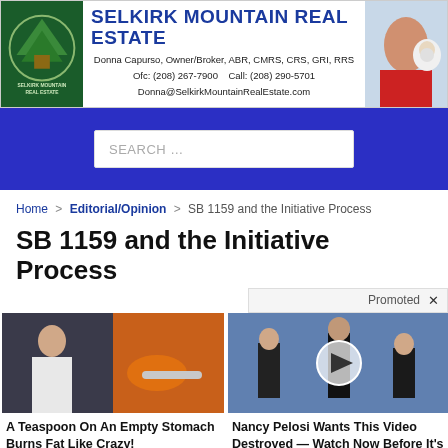[Figure (other): Selkirk Mountain Real Estate banner advertisement with logo, contact info, and photo of woman with dog]
SEARCH ...
Home > Editorial/Opinion > SB 1159 and the Initiative Process
SB 1159 and the Initiative Process
Promoted X
[Figure (photo): A woman showing abdominal muscles next to a spoon of spice]
A Teaspoon On An Empty Stomach Burns Fat Like Crazy!
139,853
[Figure (photo): Nancy Pelosi with men in suits, video play button overlay]
Nancy Pelosi Wants This Video Destroyed — Watch Now Before It's Banned
837,841